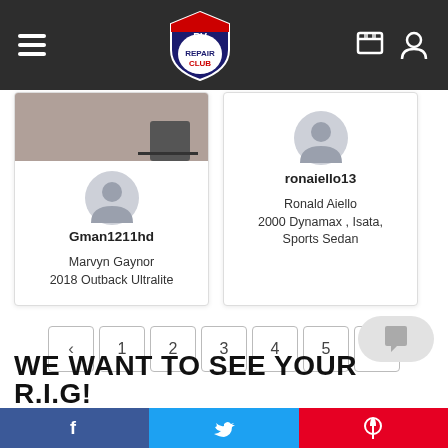RV Repair Club navigation bar
[Figure (screenshot): Card for user Gman1211hd showing avatar and name Marvyn Gaynor with 2018 Outback Ultralite]
[Figure (screenshot): Card for user ronaiello13 showing avatar and name Ronald Aiello with 2000 Dynamax, Isata, Sports Sedan]
< 1 2 3 4 5 >
WE WANT TO SEE YOUR R.I.G!
Facebook  Twitter  Pinterest